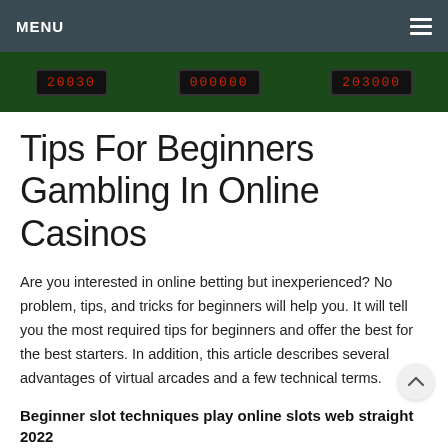MENU
[Figure (screenshot): Casino slot machine banner image showing red digital numbers on dark green background with three slot displays]
Tips For Beginners Gambling In Online Casinos
Are you interested in online betting but inexperienced? No problem, tips, and tricks for beginners will help you. It will tell you the most required tips for beginners and offer the best for the best starters. In addition, this article describes several advantages of virtual arcades and a few technical terms.
Beginner slot techniques play online slots web straight 2022
online casino